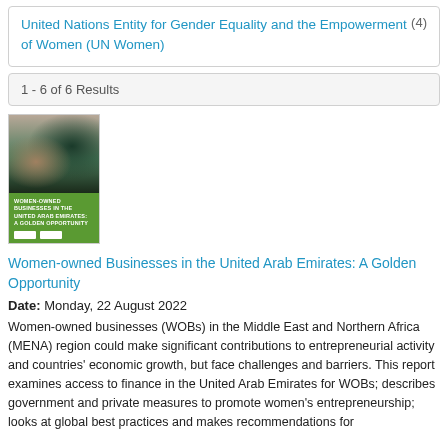United Nations Entity for Gender Equality and the Empowerment of Women (UN Women)  (4)
1 - 6 of 6 Results
[Figure (photo): Cover of report titled 'Women-Owned Businesses in the United Arab Emirates: A Golden Opportunity' showing two women in black abayas conversing, with a green lower section and logos at the bottom.]
Women-owned Businesses in the United Arab Emirates: A Golden Opportunity
Date: Monday, 22 August 2022
Women-owned businesses (WOBs) in the Middle East and Northern Africa (MENA) region could make significant contributions to entrepreneurial activity and countries' economic growth, but face challenges and barriers. This report examines access to finance in the United Arab Emirates for WOBs; describes government and private measures to promote women's entrepreneurship; looks at global best practices and makes recommendations for